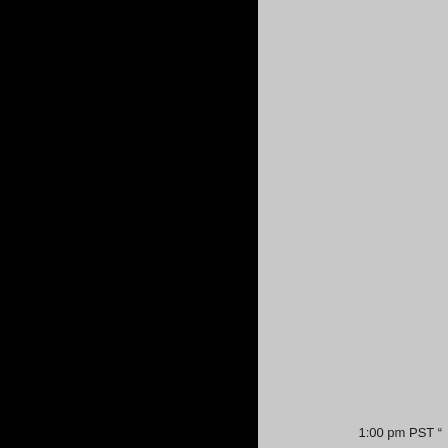[Figure (other): Page split into two panels: left half is solid black, right half is light gray. Partial text visible at bottom right.]
1:00 pm PST "